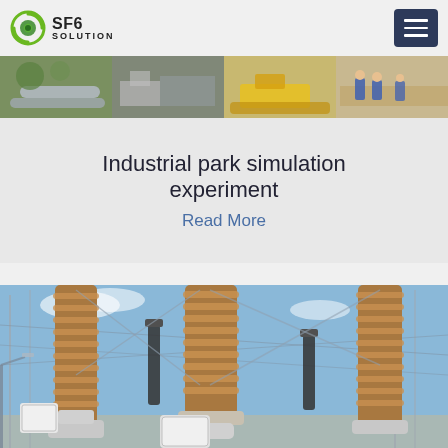SF6 SOLUTION
[Figure (photo): Banner photo strip showing industrial site equipment: pipes, machinery, yellow excavator, workers in blue uniforms on a sandy site]
Industrial park simulation experiment
Read More
[Figure (photo): High-voltage electrical substation with large brown corrugated transformer bushings/insulators, metal framework, clear blue sky background]